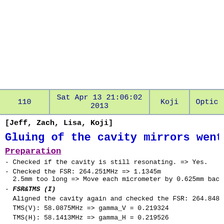[Figure (other): Blank white area at top of page (truncated image/figure area)]
| 110 | Sat Apr 13 21:06:02 2013 | Koji | Optic |
| --- | --- | --- | --- |
[Jeff, Zach, Lisa, Koji]
Gluing of the cavity mirrors went ver
Preparation
- Checked if the cavity is still resonating. => Yes.
- Checked the FSR: 264.251MHz => 1.1345m
  2.5mm too long => Move each micrometer by 0.625mm bac
- FSR&TMS (I)
  Aligned the cavity again and checked the FSR: 264.848
  TMS(V): 58.0875MHz => gamma_V = 0.219324
  TMS(H): 58.1413MHz => gamma_H = 0.219526
  the 9th modes of the carrier is 9.7-10.4 line width (
  the 13th modes of the lower f2 sideband are 9.2-10.2
  the 19th modes of the upper f2 sideband are 0.3-1.8 l
  We found that this coincidence of the resonance...